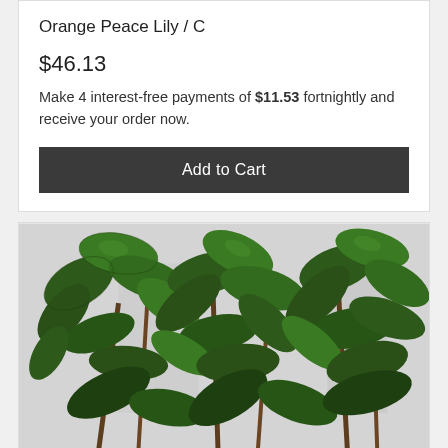Orange Peace Lily / C
$46.13
Make 4 interest-free payments of $11.53 fortnightly and receive your order now.
Add to Cart
[Figure (photo): Close-up photo of artificial green ivy/leaf plant with dark green leaves and brown stems against a white background]